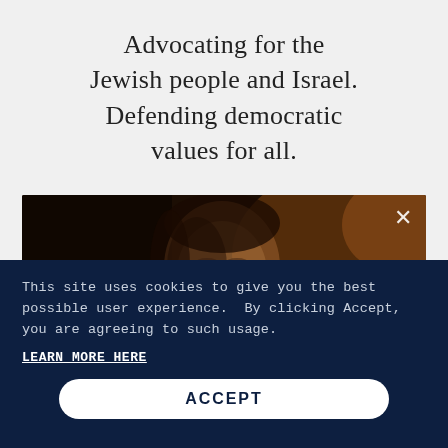Advocating for the Jewish people and Israel. Defending democratic values for all.
[Figure (photo): Video thumbnail showing a person's face in dim lighting with an X close button in the top right corner]
This site uses cookies to give you the best possible user experience.  By clicking Accept, you are agreeing to such usage.
LEARN MORE HERE
ACCEPT